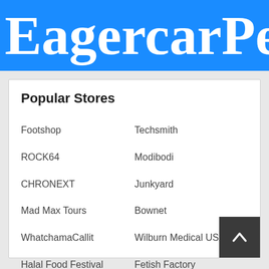EagercarPent
Popular Stores
Footshop
Techsmith
ROCK64
Modibodi
CHRONEXT
Junkyard
Mad Max Tours
Bownet
WhatchamaCallit
Wilburn Medical USA
Halal Food Festival
Fetish Factory